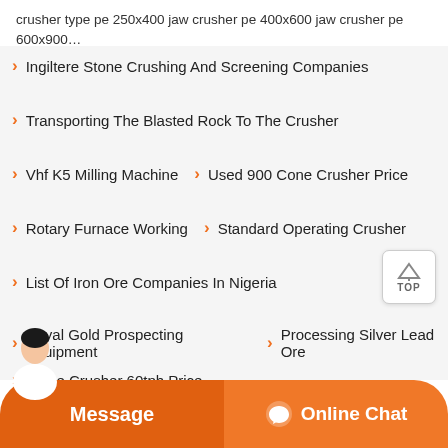crusher type pe 250x400 jaw crusher pe 400x600 jaw crusher pe 600x900…
Ingiltere Stone Crushing And Screening Companies
Transporting The Blasted Rock To The Crusher
Vhf K5 Milling Machine   Used 900 Cone Crusher Price
Rotary Furnace Working   Standard Operating Crusher
List Of Iron Ore Companies In Nigeria
Royal Gold Prospecting Equipment   Processing Silver Lead Ore
Stone Crusher 60tph Price
Prinsip Kerja Ring Hammer Crusher Coal
netary Ball Mill Design   Effects Of Mining On Land
Message   Online Chat